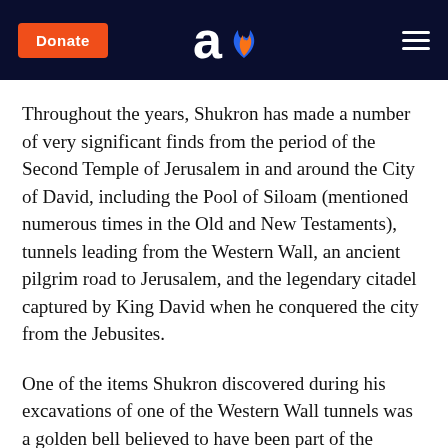Donate | [logo] | [menu]
Throughout the years, Shukron has made a number of very significant finds from the period of the Second Temple of Jerusalem in and around the City of David, including the Pool of Siloam (mentioned numerous times in the Old and New Testaments), tunnels leading from the Western Wall, an ancient pilgrim road to Jerusalem, and the legendary citadel captured by King David when he conquered the city from the Jebusites.
One of the items Shukron discovered during his excavations of one of the Western Wall tunnels was a golden bell believed to have been part of the official vestments of the high priests of the Jewish Temple.
Described in Exodus 28:31-35, the priestly robe, also